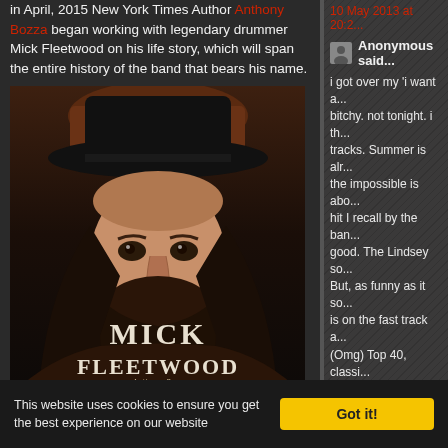in April, 2015 New York Times Author Anthony Bozza began working with legendary drummer Mick Fleetwood on his life story, which will span the entire history of the band that bears his name.
[Figure (photo): Book cover of 'Play On: Now, Then, and Fleetwood Mac' by Mick Fleetwood with Anthony Bozza. Shows a man with long dark hair and beard wearing a top hat.]
10 May 2013 at 20:2...
Anonymous said...
i got over my 'i want a... bitchy. not tonight. i th... tracks. Summer is alr... the impossible is abo... hit I recall by the ban... good. The Lindsey so... But, as funny as it so... is on the fast track a... (Omg) Top 40, classi... song will last the su... hit. She'll give up her... the last comparable f... even on the radio! Th...
Lindsey is soon bring... decades- it is happer...
10 May 2013 at 23:3...
This website uses cookies to ensure you get the best experience on our website